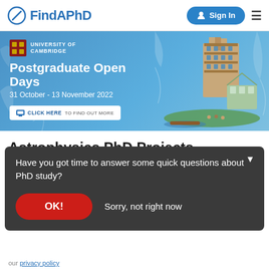FindAPhD — Sign In navigation
[Figure (screenshot): University of Cambridge Postgraduate Open Days banner advertisement, 31 October - 13 November 2022, with Cambridge building photo and olive leaf decorations]
Astrophysics PhD Projects, Programmes & Scholarships
Have you got time to answer some quick questions about PhD study?
OK!  Sorry, not right now
our privacy policy